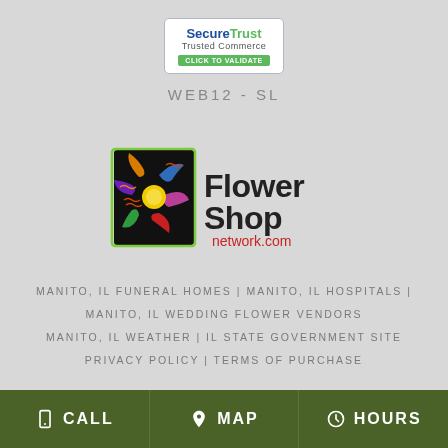[Figure (logo): SecureTrust Trusted Commerce badge with 'CLICK TO VALIDATE' green button]
WEB12 - SL
[Figure (logo): Flower Shop Network .com logo with colorful flower graphic]
MANITO, IL FUNERAL HOMES | MANITO, IL HOSPITALS |
MANITO, IL WEDDING FLOWER VENDORS
MANITO, IL WEATHER | IL STATE GOVERNMENT SITE
PRIVACY POLICY | TERMS OF PURCHASE
CALL   MAP   HOURS